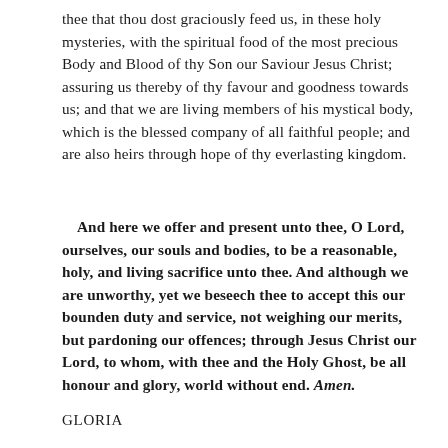thee that thou dost graciously feed us, in these holy mysteries, with the spiritual food of the most precious Body and Blood of thy Son our Saviour Jesus Christ; assuring us thereby of thy favour and goodness towards us; and that we are living members of his mystical body, which is the blessed company of all faithful people; and are also heirs through hope of thy everlasting kingdom.
And here we offer and present unto thee, O Lord, ourselves, our souls and bodies, to be a reasonable, holy, and living sacrifice unto thee. And although we are unworthy, yet we beseech thee to accept this our bounden duty and service, not weighing our merits, but pardoning our offences; through Jesus Christ our Lord, to whom, with thee and the Holy Ghost, be all honour and glory, world without end. Amen.
GLORIA